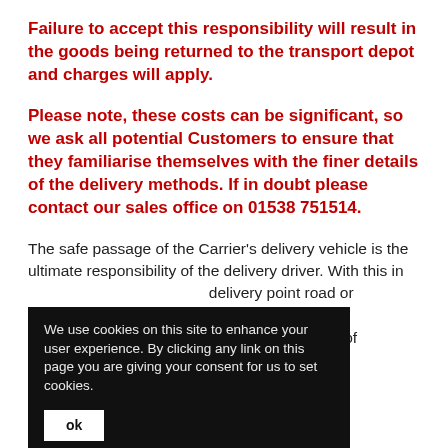Failure to accept this responsibility will result in the goods being returned to the transport depot and charges will apply.
Please note, these costs can be significant, so we ask all potential Customers to ensure that they familiarise themselves with the finer details of the delivery methods. If in doubt please contact our sales office on 01538 751514.
The safe passage of the Carrier's delivery vehicle is the ultimate responsibility of the delivery driver. With this in [mind, should the driver consider the] delivery point road or [access to be] unsafe or unviable to [make the delivery in] question, this decision of [the driver becomes] the responsibility of the [pur]chaser to notify [any condit]ion which may lead to [this. E]xamples may include
We use cookies on this site to enhance your user experience. By clicking any link on this page you are giving your consent for us to set cookies.